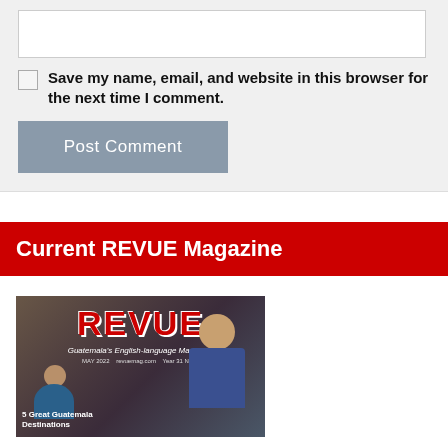[Figure (screenshot): Empty textarea input box with white background and light border]
Save my name, email, and website in this browser for the next time I comment.
Post Comment
Current REVUE Magazine
[Figure (photo): Cover of REVUE magazine - Guatemala's English-language Magazine, May 2022, Year 31 No. 3, showing artisans working with pottery, with text '5 Great Guatemala Destinations']